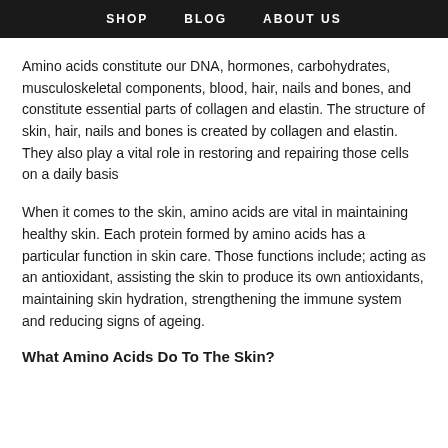SHOP   BLOG   ABOUT US
Amino acids constitute our DNA, hormones, carbohydrates, musculoskeletal components, blood, hair, nails and bones, and constitute essential parts of collagen and elastin. The structure of skin, hair, nails and bones is created by collagen and elastin. They also play a vital role in restoring and repairing those cells on a daily basis
When it comes to the skin, amino acids are vital in maintaining healthy skin. Each protein formed by amino acids has a particular function in skin care. Those functions include; acting as an antioxidant, assisting the skin to produce its own antioxidants, maintaining skin hydration, strengthening the immune system and reducing signs of ageing.
What Amino Acids Do To The Skin?